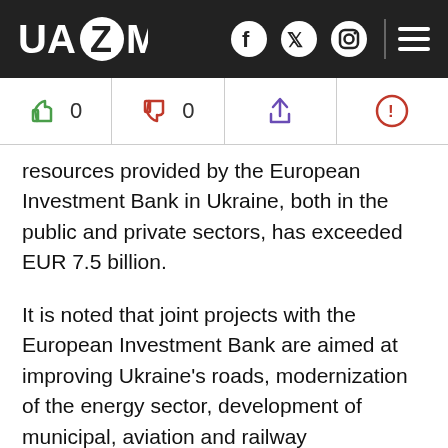UAZMI
resources provided by the European Investment Bank in Ukraine, both in the public and private sectors, has exceeded EUR 7.5 billion.
It is noted that joint projects with the European Investment Bank are aimed at improving Ukraine's roads, modernization of the energy sector, development of municipal, aviation and railway infrastructure, development of transport logistics, energy efficiency of public buildings in Ukrainian cities, creation of vocational education centers, support of small and medium-sized businesses, rehabilitation of